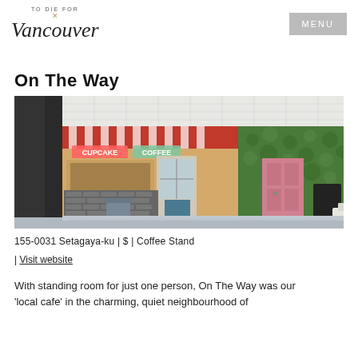To Die For × Vancouver | MENU
On The Way
[Figure (photo): Exterior of On The Way cafe/coffee stand showing a charming shopfront with red and white striped awning, neon CUPCAKE and COFFEE signs, brick lower facade, a pink door on the right side covered by ivy/green wall, and a chalkboard sign]
155-0031 Setagaya-ku | $ | Coffee Stand
| Visit website
With standing room for just one person, On The Way was our 'local cafe' in the charming, quiet neighbourhood of